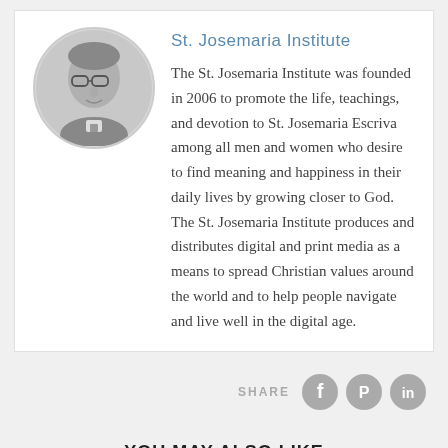[Figure (photo): Black and white circular portrait photo of St. Josemaria Escriva, a man wearing glasses and a clerical collar]
St. Josemaria Institute
The St. Josemaria Institute was founded in 2006 to promote the life, teachings, and devotion to St. Josemaria Escriva among all men and women who desire to find meaning and happiness in their daily lives by growing closer to God. The St. Josemaria Institute produces and distributes digital and print media as a means to spread Christian values around the world and to help people navigate and live well in the digital age.
SHARE
YOU MAY ALSO LIKE